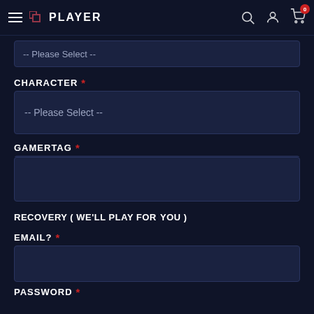PLAYER
-- Please Select --
CHARACTER *
-- Please Select --
GAMERTAG *
RECOVERY ( WE'LL PLAY FOR YOU )
EMAIL? *
PASSWORD *
QUEUE TIME